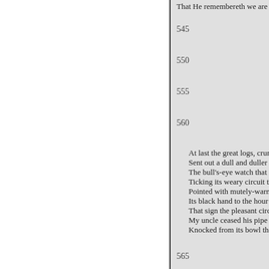That He remembereth we are dust
545
550
555
560
At last the great logs, crumbling,
Sent out a dull and duller gl
The bull's-eye watch that hu
Ticking its weary circuit thr
Pointed with mutely-warnin
Its black hand to the hour o
That sign the pleasant circle
My uncle ceased his pipe to
Knocked from its bowl the
565
« Previous